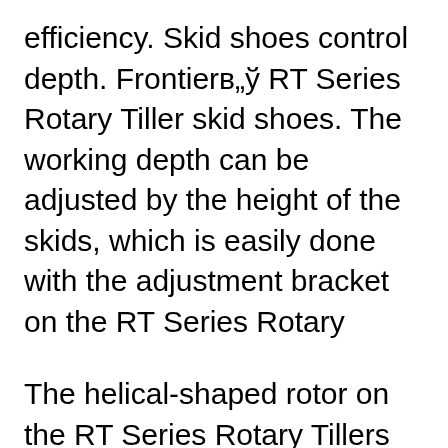efficiency. Skid shoes control depth. Frontierв„ў RT Series Rotary Tiller skid shoes. The working depth can be adjusted by the height of the skids, which is easily done with the adjustment bracket on the RT Series Rotary
The helical-shaped rotor on the RT Series Rotary Tillers decreases horsepower required to drive units. They are designed so they enter the field at different times for more efficiency. Skid shoes control depth. Frontierв„ў RT Series Rotary Tiller skid shoes. The working depth can be adjusted by the height of the skids, which is easily done with the